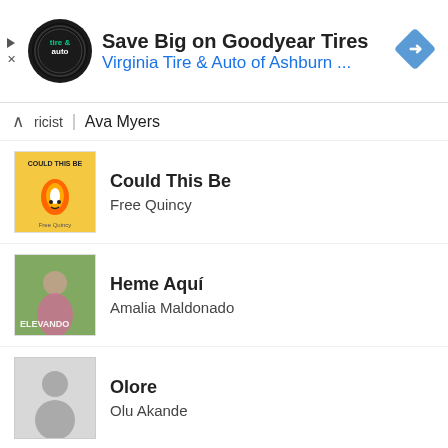[Figure (other): Advertisement banner: Save Big on Goodyear Tires - Virginia Tire & Auto of Ashburn ... with logo and navigation arrow icon]
ricist   Ava Myers
Could This Be - Free Quincy
Heme Aquí - Amalia Maldonado
Olore - Olu Akande
GET PROMOTED
Quiz | Are you a music master?